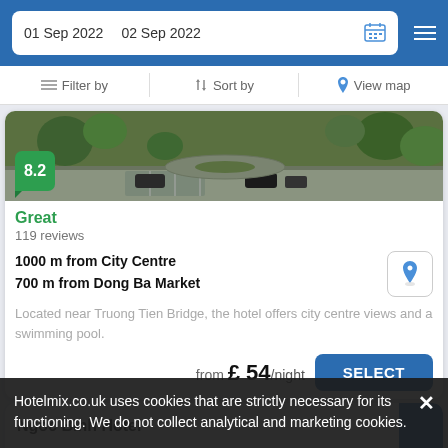01 Sep 2022   02 Sep 2022
Filter by   Sort by   View map
[Figure (photo): Aerial view of hotel grounds with parking area and green trees, with a green score badge showing 8.2]
Great
119 reviews
1000 m from City Centre
700 m from Dong Ba Market
Located near Truong Tien Bridge, the hotel offers city centre views and a swimming pool.
from £ 54/night
SELECT
Ngoc Binh Hotel
Hotelmix.co.uk uses cookies that are strictly necessary for its functioning. We do not collect analytical and marketing cookies.